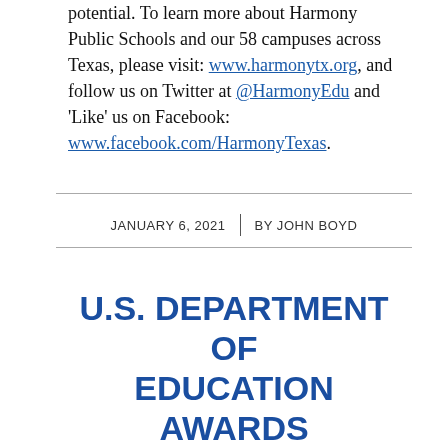potential. To learn more about Harmony Public Schools and our 58 campuses across Texas, please visit: www.harmonytx.org, and follow us on Twitter at @HarmonyEdu and 'Like' us on Facebook: www.facebook.com/HarmonyTexas.
JANUARY 6, 2021 | BY JOHN BOYD
U.S. DEPARTMENT OF EDUCATION AWARDS HARMONY $27.8 MILLION GRANT